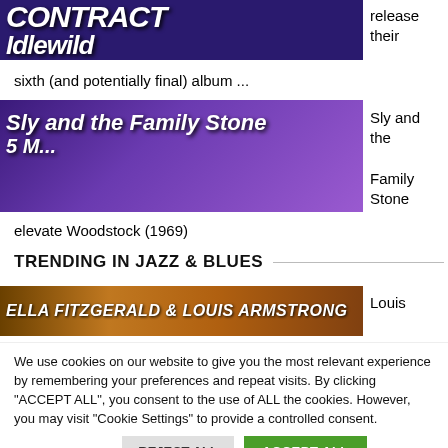[Figure (photo): Album cover or promotional image for Idlewild with bold italic text on dark purple/blue background showing band name]
release their
sixth (and potentially final) album ...
[Figure (photo): Promotional image for Sly and the Family Stone with bold white italic text on purple gradient background]
Sly and the Family Stone
elevate Woodstock (1969)
TRENDING IN JAZZ & BLUES
[Figure (photo): Album cover for Ella Fitzgerald & Louis Armstrong with stylized text on warm brown background]
Louis
We use cookies on our website to give you the most relevant experience by remembering your preferences and repeat visits. By clicking "ACCEPT ALL", you consent to the use of ALL the cookies. However, you may visit "Cookie Settings" to provide a controlled consent.
Cookie Settings    REJECT ALL    ACCEPT ALL